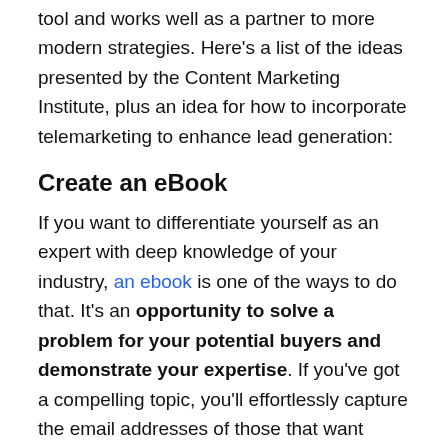tool and works well as a partner to more modern strategies. Here's a list of the ideas presented by the Content Marketing Institute, plus an idea for how to incorporate telemarketing to enhance lead generation:
Create an eBook
If you want to differentiate yourself as an expert with deep knowledge of your industry, an ebook is one of the ways to do that. It's an opportunity to solve a problem for your potential buyers and demonstrate your expertise. If you've got a compelling topic, you'll effortlessly capture the email addresses of those that want access to your ebook.
Telemarketing pairs well with this idea on both ends of the process. You can reach out to your target